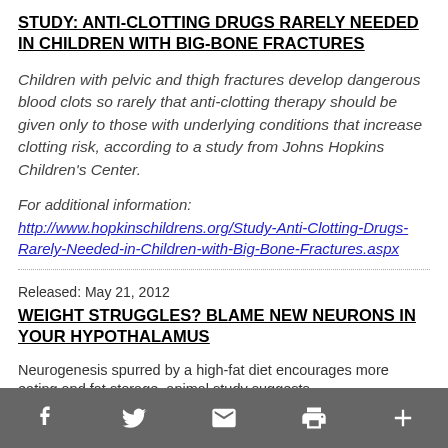STUDY: ANTI-CLOTTING DRUGS RARELY NEEDED IN CHILDREN WITH BIG-BONE FRACTURES
Children with pelvic and thigh fractures develop dangerous blood clots so rarely that anti-clotting therapy should be given only to those with underlying conditions that increase clotting risk, according to a study from Johns Hopkins Children's Center.
For additional information:
http://www.hopkinschildrens.org/Study-Anti-Clotting-Drugs-Rarely-Needed-in-Children-with-Big-Bone-Fractures.aspx
Released: May 21, 2012
WEIGHT STRUGGLES? BLAME NEW NEURONS IN YOUR HYPOTHALAMUS
Neurogenesis spurred by a high-fat diet encourages more eating and fat storage, animal study suggests
New nerve cells formed in a select part of the brain could hold considerable sway over how much you eat and consequently
Social toolbar with Facebook, Twitter, Email, Print, More icons